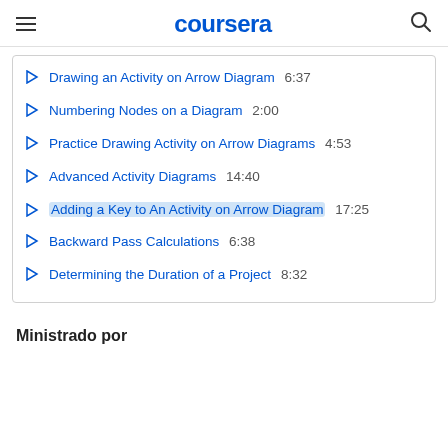coursera
Drawing an Activity on Arrow Diagram  6:37
Numbering Nodes on a Diagram  2:00
Practice Drawing Activity on Arrow Diagrams  4:53
Advanced Activity Diagrams  14:40
Adding a Key to An Activity on Arrow Diagram  17:25
Backward Pass Calculations  6:38
Determining the Duration of a Project  8:32
Ministrado por